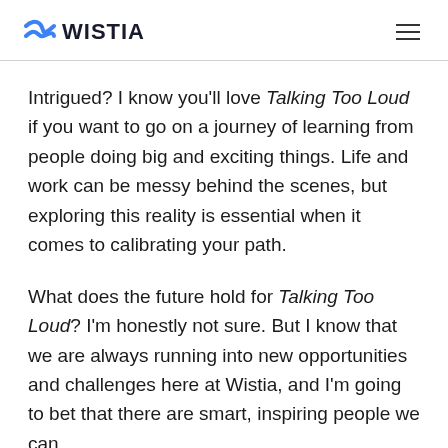WISTIA
Intrigued? I know you'll love Talking Too Loud if you want to go on a journey of learning from people doing big and exciting things. Life and work can be messy behind the scenes, but exploring this reality is essential when it comes to calibrating your path.
What does the future hold for Talking Too Loud? I'm honestly not sure. But I know that we are always running into new opportunities and challenges here at Wistia, and I'm going to bet that there are smart, inspiring people we can